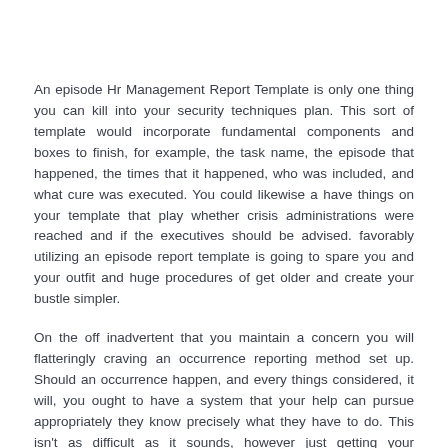An episode Hr Management Report Template is only one thing you can kill into your security techniques plan. This sort of template would incorporate fundamental components and boxes to finish, for example, the task name, the episode that happened, the times that it happened, who was included, and what cure was executed. You could likewise a have things on your template that play whether crisis administrations were reached and if the executives should be advised. favorably utilizing an episode report template is going to spare you and your outfit and huge procedures of get older and create your bustle simpler.
On the off inadvertent that you maintain a concern you will flatteringly craving an occurrence reporting method set up. Should an occurrence happen, and every things considered, it will, you ought to have a system that your help can pursue appropriately they know precisely what they have to do. This isn't as difficult as it sounds, however just getting your framework set taking place so your systems are prepared to apply should an episode occur.Procedures are not unreasonably hard to make upon the off unintended that you find pertinent templates to apply in your